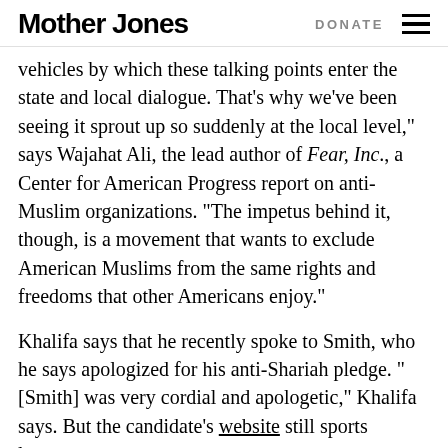Mother Jones | DONATE
and citizen groups to legitimize are the vehicles by which these talking points enter the state and local dialogue. That’s why we’ve been seeing it sprout up so suddenly at the local level,” says Wajahat Ali, the lead author of Fear, Inc., a Center for American Progress report on anti-Muslim organizations. “The impetus behind it, though, is a movement that wants to exclude American Muslims from the same rights and freedoms that other Americans enjoy.”
Khalifa says that he recently spoke to Smith, who he says apologized for his anti-Shariah pledge. “[Smith] was very cordial and apologetic,” Khalifa says. But the candidate’s website still sports language